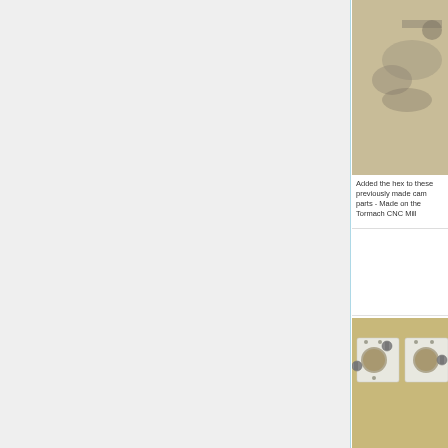[Figure (photo): Machined metal parts with hex features on a workbench surface, partially visible at top of card.]
Added the hex to these previously made cam parts - Made on the Tormach CNC Mill
[Figure (photo): Two white CNC-machined biochamber brackets with large circular holes and hex bolt hardware, placed on a wooden surface.]
Top and bottom biochamber brackets, I added a shallow large diameter countersink to each p... collar fits into the countersink and will align t... fixtures mounts - Made on the Tormach CNC...